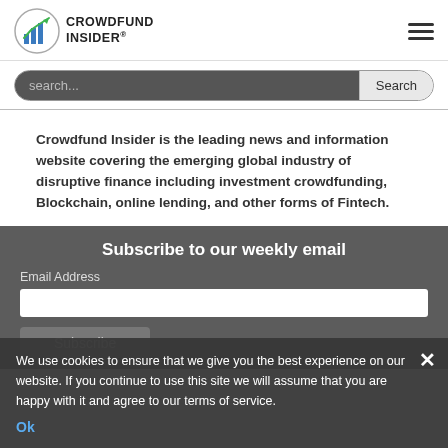[Figure (logo): Crowdfund Insider logo with bar chart icon and text CROWDFUND INSIDER]
search...
Crowdfund Insider is the leading news and information website covering the emerging global industry of disruptive finance including investment crowdfunding, Blockchain, online lending, and other forms of Fintech.
Subscribe to our weekly email
Email Address
Subscribe
We use cookies to ensure that we give you the best experience on our website. If you continue to use this site we will assume that you are happy with it and agree to our terms of service.
Ok